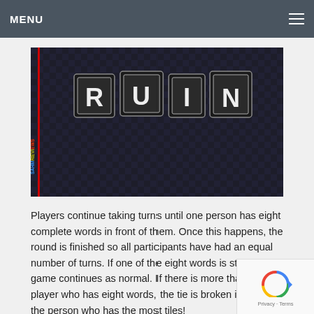MENU
[Figure (photo): Scrabble-style letter tiles spelling 'RUIN' arranged on a dark checkered background. A vertical watermark reads 'SAHMREVIEWS' on the left side.]
Players continue taking turns until one person has eight complete words in front of them. Once this happens, the round is finished so all participants have had an equal number of turns. If one of the eight words is stolen, the game continues as normal. If there is more than one player who has eight words, the tie is broken in favor of the person who has the most tiles!